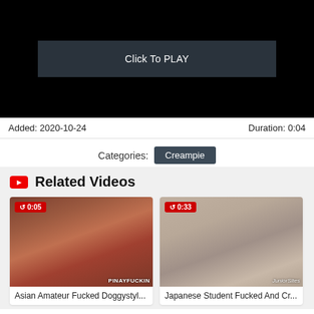[Figure (screenshot): Video player area with dark background and Click To PLAY button overlay]
Added: 2020-10-24
Duration: 0:04
Categories: Creampie
Related Videos
[Figure (screenshot): Thumbnail for Asian Amateur Fucked Doggystyl... video, duration 0:05]
Asian Amateur Fucked Doggystyl...
[Figure (screenshot): Thumbnail for Japanese Student Fucked And Cr... video, duration 0:33]
Japanese Student Fucked And Cr...